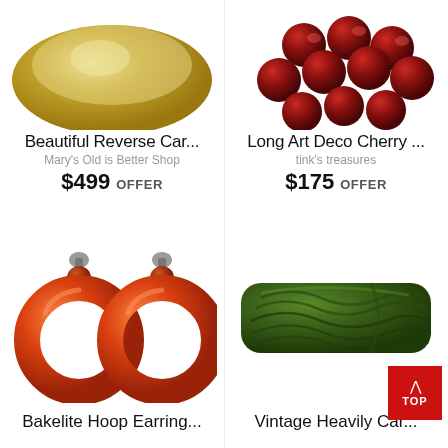[Figure (photo): Top portion of a yellow/cream colored Bakelite reverse carved dish or bangle]
[Figure (photo): Dark cherry red faceted bead necklace, Art Deco style]
Beautiful Reverse Car...
Mary's Old is Better Shop
$499 OFFER
Long Art Deco Cherry ...
tink's treasures
$175 OFFER
[Figure (photo): Orange/amber Bakelite hoop clip-on earrings with small round tops]
[Figure (photo): Dark green heavily carved Bakelite bangle bracelet with leaf/feather pattern]
Bakelite Hoop Earring...
Vintage Heavily Car...